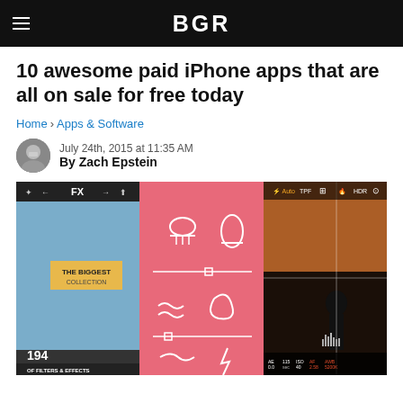BGR
10 awesome paid iPhone apps that are all on sale for free today
Home › Apps & Software
July 24th, 2015 at 11:35 AM
By Zach Epstein
[Figure (photo): Three iPhone app screenshots showing photo filter app with 194 effects, a pink icon-menu app, and a camera/HDR app with a silhouette at sunset]